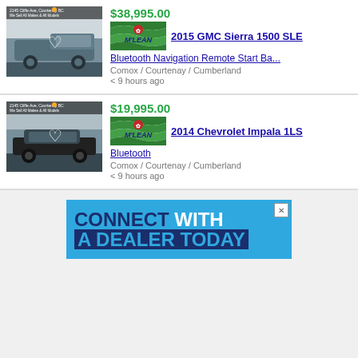[Figure (photo): Photo of a 2015 GMC Sierra 1500 SLE truck with McLean dealer logo overlay and heart icon]
$38,995.00
[Figure (logo): McLean dealer logo]
2015 GMC Sierra 1500 SLE
Bluetooth Navigation Remote Start Ba...
Comox / Courtenay / Cumberland
< 9 hours ago
[Figure (photo): Photo of a 2014 Chevrolet Impala 1LS sedan with McLean dealer logo overlay and heart icon]
$19,995.00
[Figure (logo): McLean dealer logo]
2014 Chevrolet Impala 1LS
Bluetooth
Comox / Courtenay / Cumberland
< 9 hours ago
[Figure (infographic): Blue advertisement banner: CONNECT WITH A DEALER TODAY with close button]